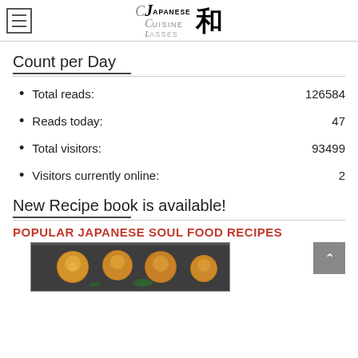Japanese Cuisine Classes (logo with kanji 和)
Count per Day
Total reads: 126584
Reads today: 47
Total visitors: 93499
Visitors currently online: 2
New Recipe book is available!
POPULAR JAPANESE SOUL FOOD RECIPES
[Figure (photo): Photo of Japanese soul food (takoyaki or similar round fried foods) on a dark tray]